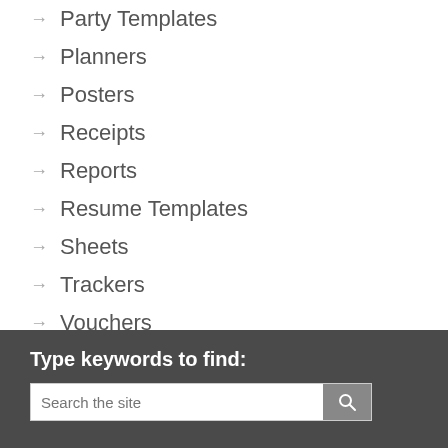→ Party Templates
→ Planners
→ Posters
→ Receipts
→ Reports
→ Resume Templates
→ Sheets
→ Trackers
→ Vouchers
→ Wedding Templates
→ Word Templates
Type keywords to find:
Search the site